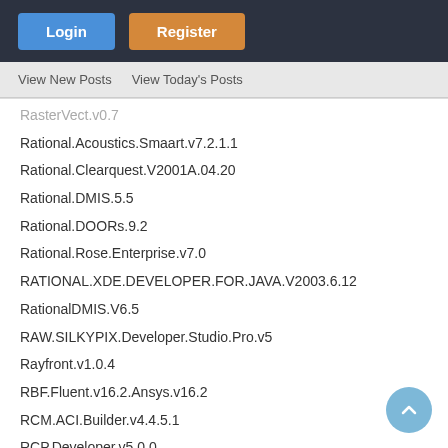Login | Register
View New Posts   View Today's Posts
RasterVect.v0.7
Rational.Acoustics.Smaart.v7.2.1.1
Rational.Clearquest.V2001A.04.20
Rational.DMIS.5.5
Rational.DOORs.9.2
Rational.Rose.Enterprise.v7.0
RATIONAL.XDE.DEVELOPER.FOR.JAVA.V2003.6.12
RationalDMIS.V6.5
RAW.SILKYPIX.Developer.Studio.Pro.v5
Rayfront.v1.0.4
RBF.Fluent.v16.2.Ansys.v16.2
RCM.ACI.Builder.v4.4.5.1
RCP.Developer.v5.0.0
RDV.SYSTEMS.RAPID.DESIGN.VISUALIZATION.V2007
Reaction.Design.Chemkin.Pro.15131
Readiris.Pro.16.0.0.9472
Real.CAD.v3.0
Real.Cut.2D.v5.7.1